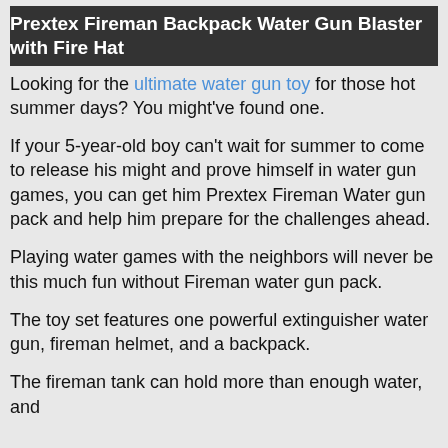Prextex Fireman Backpack Water Gun Blaster with Fire Hat
Looking for the ultimate water gun toy for those hot summer days? You might've found one.
If your 5-year-old boy can't wait for summer to come to release his might and prove himself in water gun games, you can get him Prextex Fireman Water gun pack and help him prepare for the challenges ahead.
Playing water games with the neighbors will never be this much fun without Fireman water gun pack.
The toy set features one powerful extinguisher water gun, fireman helmet, and a backpack.
The fireman tank can hold more than enough water, and